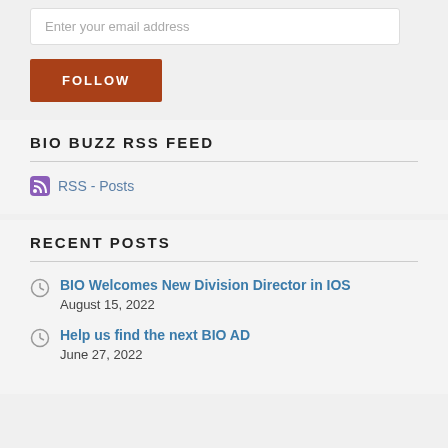Enter your email address
FOLLOW
BIO BUZZ RSS FEED
RSS - Posts
RECENT POSTS
BIO Welcomes New Division Director in IOS
August 15, 2022
Help us find the next BIO AD
June 27, 2022